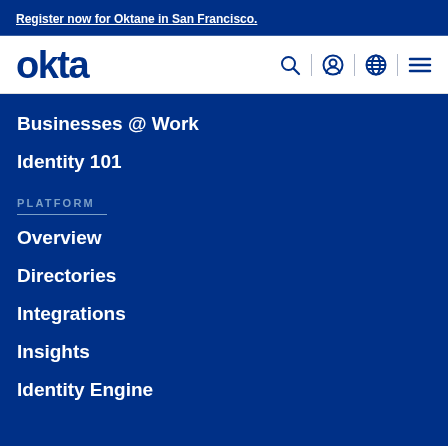Register now for Oktane in San Francisco.
[Figure (logo): Okta logo in dark blue text on white background with navigation icons: search, user, globe, and hamburger menu]
Businesses @ Work
Identity 101
PLATFORM
Overview
Directories
Integrations
Insights
Identity Engine